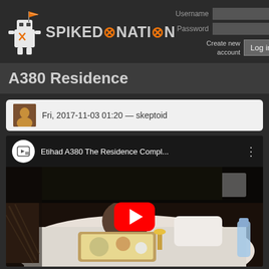[Figure (logo): SpikedNation logo with robot mascot holding a flag and orange/grey text]
Username
Password
Create new account
Log in
A380 Residence
Fri, 2017-11-03 01:20 — skeptoid
[Figure (screenshot): YouTube video thumbnail showing 'Etihad A380 The Residence Compl...' with a man eating in a luxury airplane suite bed with a meal tray, play button overlay]